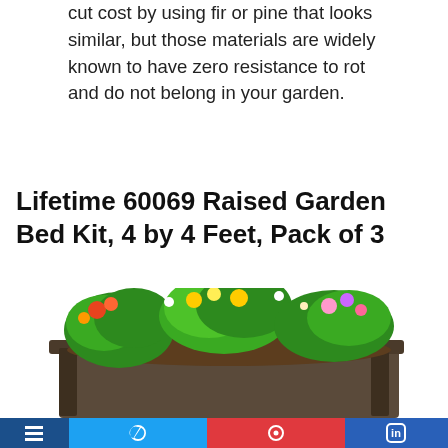cut cost by using fir or pine that looks similar, but those materials are widely known to have zero resistance to rot and do not belong in your garden.
Lifetime 60069 Raised Garden Bed Kit, 4 by 4 Feet, Pack of 3
[Figure (photo): A raised garden bed planter filled with soil and various flowering and leafy plants. A green circular badge showing -31% discount is overlaid on the top-left of the image.]
Social media share bar with icons for various platforms